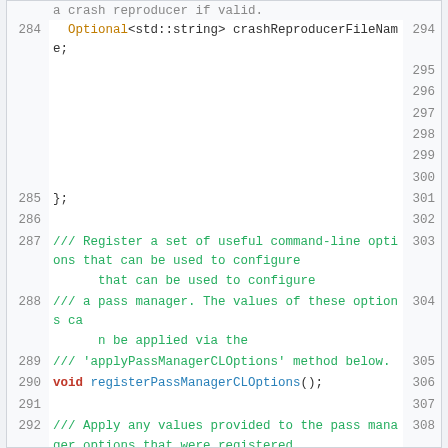a crash reproducer if valid.
284   Optional<std::string> crashReproducerFileName;
285  };
286  (blank)
287  /// Register a set of useful command-line options that can be used to configure
288  /// a pass manager. The values of these options can be applied via the
289  /// 'applyPassManagerCLOptions' method below.
290  void registerPassManagerCLOptions();
291  (blank)
292  /// Apply any values provided to the pass manager options that were registered
293  /// with 'registerPassManagerOptions'.
294  void applyPassManagerCLOptions(PassManager &pm);
295  } // end namespace mlir
296  (blank)
297  #endif // MLIR_PASS_PASSMANAGER_H